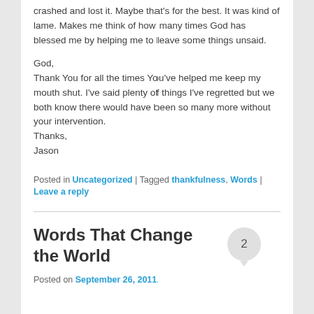crashed and lost it. Maybe that's for the best. It was kind of lame. Makes me think of how many times God has blessed me by helping me to leave some things unsaid.
God,
Thank You for all the times You've helped me keep my mouth shut. I've said plenty of things I've regretted but we both know there would have been so many more without your intervention.
Thanks,
Jason
Posted in Uncategorized | Tagged thankfulness, Words | Leave a reply
Words That Change the World
Posted on September 26, 2011